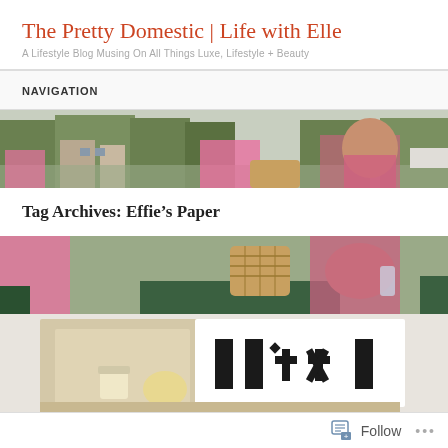The Pretty Domestic | Life with Elle
A Lifestyle Blog Musing On All Things Luxe, Lifestyle + Beauty
NAVIGATION
[Figure (photo): Outdoor street scene with a woman in a pink top, trees and buildings in the background]
Tag Archives: Effie’s Paper
[Figure (photo): Outdoor photo continued — woman in pink, wicker basket, green table]
[Figure (photo): Interior image showing stationery with black geometric/asterisk patterns on white cards, with a small jar and wood surface]
Follow ...